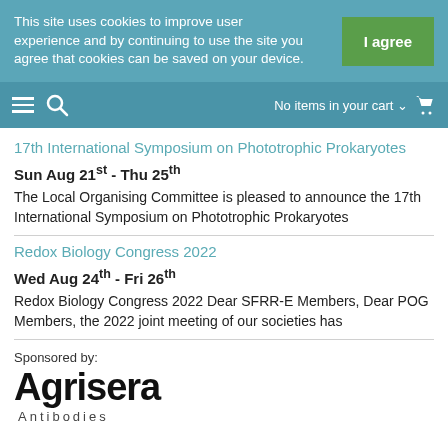This site uses cookies to improve user experience and by continuing to use the site you agree that cookies can be saved on your device.
No items in your cart
17th International Symposium on Phototrophic Prokaryotes
Sun Aug 21st - Thu 25th
The Local Organising Committee is pleased to announce the 17th International Symposium on Phototrophic Prokaryotes
Redox Biology Congress 2022
Wed Aug 24th - Fri 26th
Redox Biology Congress 2022 Dear SFRR-E Members, Dear POG Members, the 2022 joint meeting of our societies has
Sponsored by:
[Figure (logo): Agrisera Antibodies logo in black bold text]